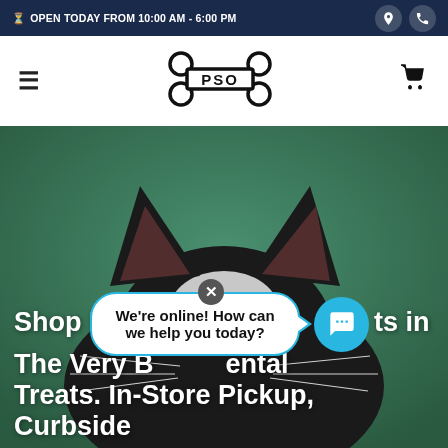OPEN TODAY FROM 10:00 AM - 6:00 PM
[Figure (logo): PSO pet store logo in a bone shape]
[Figure (photo): Close-up of a black and white cat's head against a green background, peeking from below]
Shop Dental Treats for Cats in
The Very Best Dental Treats. In-Store Pickup, Curbside
[Figure (screenshot): Chat bubble popup saying: We're online! How can we help you today? with a close X button and a blue chat icon circle]